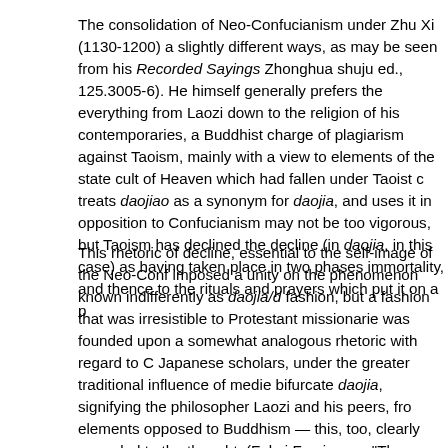The consolidation of Neo-Confucianism under Zhu Xi (1130-1200) a slightly different ways, as may be seen from his Recorded Sayings Zhonghua shuju ed., 125.3005-6). He himself generally prefers the everything from Laozi down to the religion of his contemporaries, a Buddhist charge of plagiarism against Taoism, mainly with a view to elements of the state cult of Heaven which had fallen under Taoist c treats daojiao as a synonym for daojia, and uses it in opposition to Confucianism may not be too vigorous, but Taoism has declined the decline (in daojia, in this case) as having taken place in two phases immortality, and thence to the rituals and prayers which put it on a p
This rhetoric of decline, essential to the self-image of the Neo-Conf imposed a unity on the phenomenon known indifferently as daojia/d fashion, but a fashion that was irresistible to Protestant missionarie was founded upon a somewhat analogous rhetoric with regard to C Japanese scholars, under the greater traditional influence of medie bifurcate daojia, signifying the philosopher Laozi and his peers, fro elements opposed to Buddhism — this, too, clearly appealed to the thought. (Fukui Fumimasa, "The History of Taoist Studies in Japan key Japanese contributions to clarifying this issue; Benjamin Penny explores some Protestant approaches to Taoism.) Thus the manipu Taoists to suit their own agendas has in no small measure created